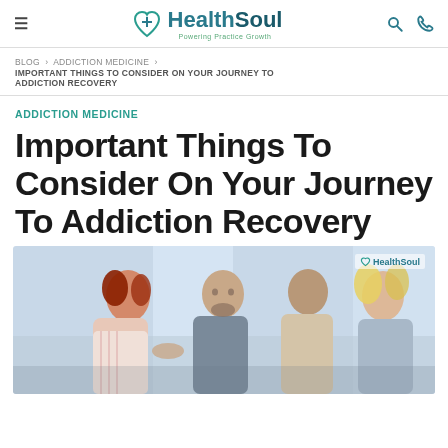HealthSoul — Powering Practice Growth
BLOG > ADDICTION MEDICINE > IMPORTANT THINGS TO CONSIDER ON YOUR JOURNEY TO ADDICTION RECOVERY
ADDICTION MEDICINE
Important Things To Consider On Your Journey To Addiction Recovery
[Figure (photo): Group of four people (two women and two men) in a counseling or support setting, looking at something together. HealthSoul watermark in top right.]